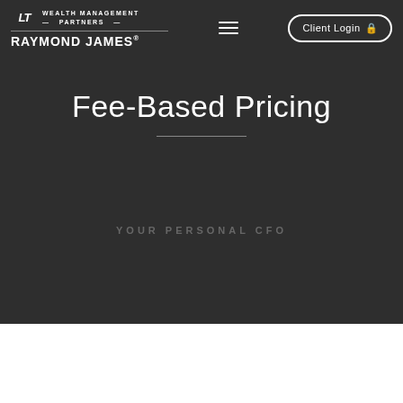LT WEALTH MANAGEMENT PARTNERS / RAYMOND JAMES® | Menu | Client Login
Fee-Based Pricing
YOUR PERSONAL CFO